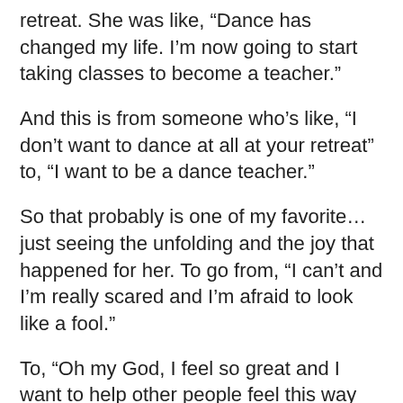retreat. She was like, “Dance has changed my life. I’m now going to start taking classes to become a teacher.”
And this is from someone who’s like, “I don’t want to dance at all at your retreat” to, “I want to be a dance teacher.”
So that probably is one of my favorite… just seeing the unfolding and the joy that happened for her. To go from, “I can’t and I’m really scared and I’m afraid to look like a fool.”
To, “Oh my God, I feel so great and I want to help other people feel this way too.”